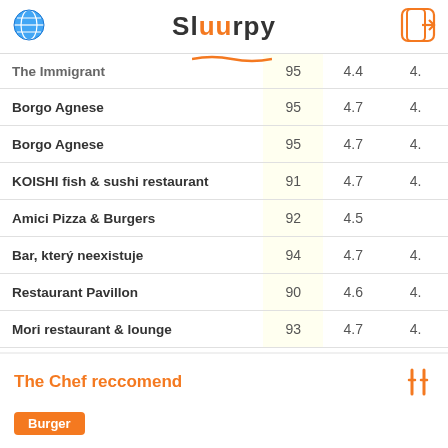Sluurpy
| Restaurant | Score | Rating |  |
| --- | --- | --- | --- |
| The Immigrant | 95 | 4.4 | 4. |
| Borgo Agnese | 95 | 4.7 | 4. |
| Borgo Agnese | 95 | 4.7 | 4. |
| KOISHI fish & sushi restaurant | 91 | 4.7 | 4. |
| Amici Pizza & Burgers | 92 | 4.5 |  |
| Bar, který neexistuje | 94 | 4.7 | 4. |
| Restaurant Pavillon | 90 | 4.6 | 4. |
| Mori restaurant & lounge | 93 | 4.7 | 4. |
The Chef reccomend
Burger